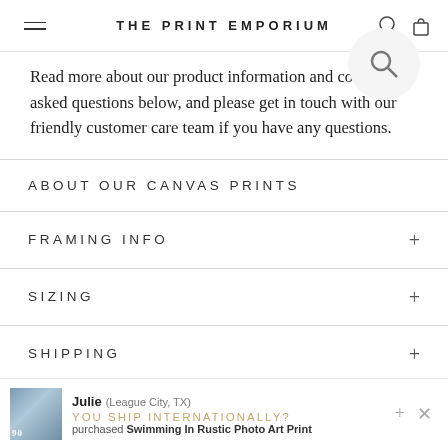THE PRINT EMPORIUM
Read more about our product information and commonly asked questions below, and please get in touch with our friendly customer care team if you have any questions.
ABOUT OUR CANVAS PRINTS
FRAMING INFO
SIZING
SHIPPING
Julie (League City, TX)
YOU SHIP INTERNATIONALLY?
purchased Swimming In Rustic Photo Art Print